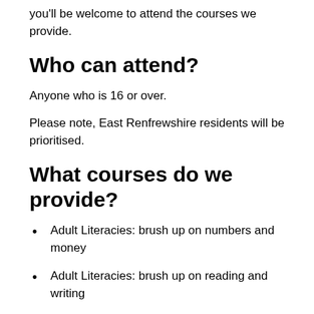you'll be welcome to attend the courses we provide.
Who can attend?
Anyone who is 16 or over.
Please note, East Renfrewshire residents will be prioritised.
What courses do we provide?
Adult Literacies: brush up on numbers and money
Adult Literacies: brush up on reading and writing
Gaelic Language